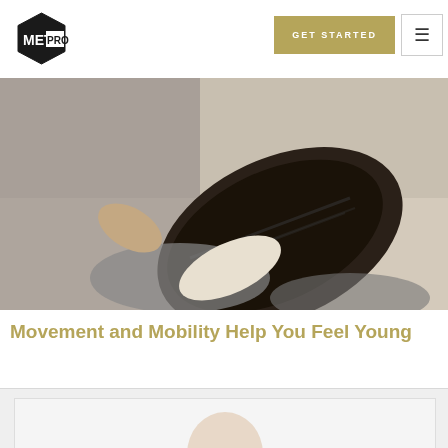[Figure (logo): MetPro hexagonal logo with text MET PRO]
[Figure (other): GET STARTED button in gold/tan color and hamburger menu icon]
[Figure (photo): Person sitting on floor stretching, close-up of sneaker sole visible]
Movement and Mobility Help You Feel Young
[Figure (screenshot): Video thumbnail showing bald man with glasses wearing blue shirt, with dark play button overlay at bottom center]